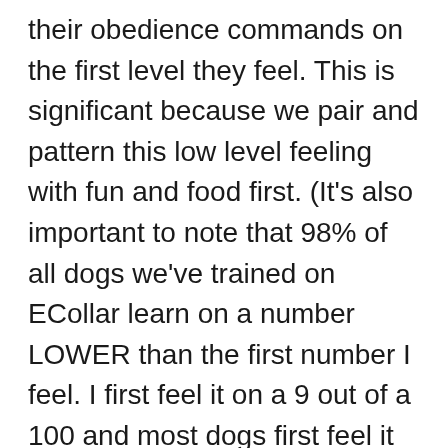their obedience commands on the first level they feel. This is significant because we pair and pattern this low level feeling with fun and food first. (It's also important to note that 98% of all dogs we've trained on ECollar learn on a number LOWER than the first number I feel. I first feel it on a 9 out of a 100 and most dogs first feel it between a 5-8.) We don't do any correcting on the collar until the dog has a good understanding of the collar and knows how to shut the pressure off.